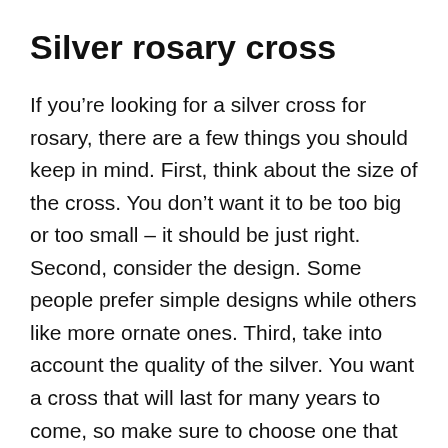Silver rosary cross
If you’re looking for a silver cross for rosary, there are a few things you should keep in mind. First, think about the size of the cross. You don’t want it to be too big or too small – it should be just right. Second, consider the design. Some people prefer simple designs while others like more ornate ones. Third, take into account the quality of the silver. You want a cross that will last for many years to come, so make sure to choose one that is made from high-quality silver.